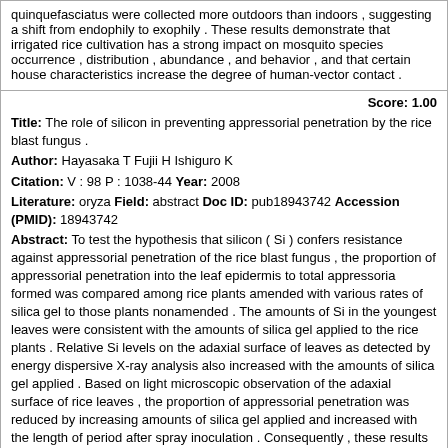quinquefasciatus were collected more outdoors than indoors , suggesting a shift from endophily to exophily . These results demonstrate that irrigated rice cultivation has a strong impact on mosquito species occurrence , distribution , abundance , and behavior , and that certain house characteristics increase the degree of human-vector contact .
Score: 1.00
Title: The role of silicon in preventing appressorial penetration by the rice blast fungus .
Author: Hayasaka T Fujii H Ishiguro K
Citation: V : 98 P : 1038-44 Year: 2008
Literature: oryza Field: abstract Doc ID: pub18943742 Accession (PMID): 18943742
Abstract: To test the hypothesis that silicon ( Si ) confers resistance against appressorial penetration of the rice blast fungus , the proportion of appressorial penetration into the leaf epidermis to total appressoria formed was compared among rice plants amended with various rates of silica gel to those plants nonamended . The amounts of Si in the youngest leaves were consistent with the amounts of silica gel applied to the rice plants . Relative Si levels on the adaxial surface of leaves as detected by energy dispersive X-ray analysis also increased with the amounts of silica gel applied . Based on light microscopic observation of the adaxial surface of rice leaves , the proportion of appressorial penetration was reduced by increasing amounts of silica gel applied and increased with the length of period after spray inoculation . Consequently , these results strongly support the hypothesis and suggest that Si in the leaf epidermis may confer resistance against appressorial penetration . Meanwhile , the number of lesions per leaf also decreased with the